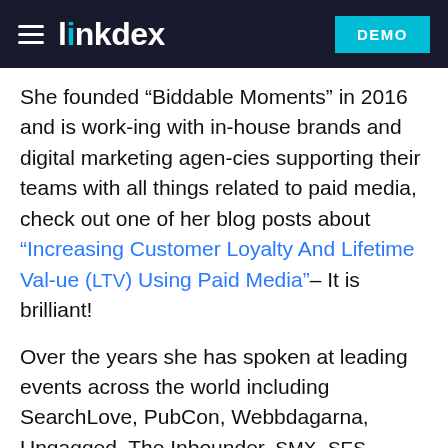linkdex DEMO
She founded “Biddable Moments” in 2016 and is working with in-house brands and digital marketing agencies supporting their teams with all things related to paid media, check out one of her blog posts about “Increasing Customer Loyalty And Lifetime Value (LTV) Using Paid Media”– It is brilliant!
Over the years she has spoken at leading events across the world including SearchLove, PubCon, Webbdagarna, Ungagged, The Inbounder, SMX, SES, BrightonSEO, RIMC and many more. Since 2015 she has sat on the judging panel for numerous awards including the UK and US Search Awards, the MENA Search Awards, the Performance Marketing Awards, the DANI Awards, and the Biddable Media Awards